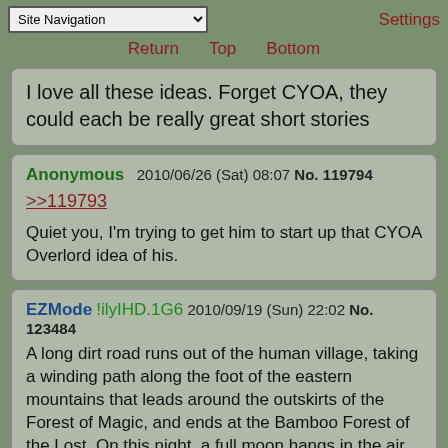Site Navigation  Settings  Return  Top  Bottom
I love all these ideas. Forget CYOA, they could each be really great short stories
Anonymous  2010/06/26 (Sat) 08:07  No. 119794
>>119793
Quiet you, I'm trying to get him to start up that CYOA Overlord idea of his.
EZMode !ilyIHD.1G6  2010/09/19 (Sun) 22:02  No. 123484
A long dirt road runs out of the human village, taking a winding path along the foot of the eastern mountains that leads around the outskirts of the Forest of Magic, and ends at the Bamboo Forest of the Lost. On this night, a full moon hangs in the air, bathing the road in a white light, as two women stare each other down across the stretch of dirt, while